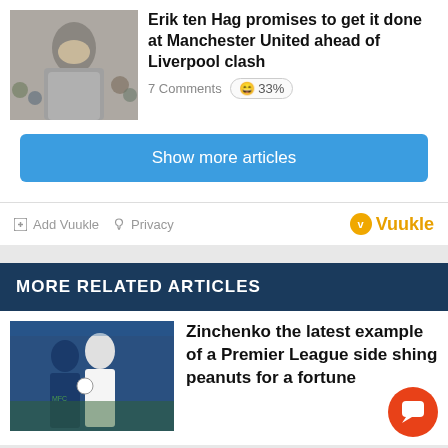[Figure (photo): Man covering face with hand outdoors, crowd in background]
Erik ten Hag promises to get it done at Manchester United ahead of Liverpool clash
7 Comments 😄 33%
Show more articles
Add Vuukle  Privacy
Vuukle
MORE RELATED ARTICLES
[Figure (photo): Soccer players competing on field, blue and white uniforms]
Zinchenko the latest example of a Premier League side sh___g peanuts for a fortune